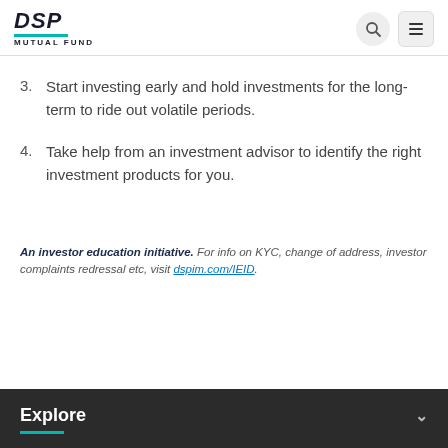DSP MUTUAL FUND
3. Start investing early and hold investments for the long-term to ride out volatile periods.
4. Take help from an investment advisor to identify the right investment products for you.
An investor education initiative. For info on KYC, change of address, investor complaints redressal etc, visit dspim.com/IEID.
Explore